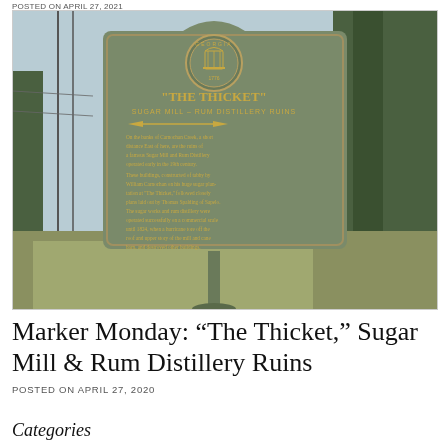POSTED ON APRIL 27, 2021
[Figure (photo): A historic Georgia state historical marker sign for 'The Thicket' Sugar Mill - Rum Distillery Ruins. The green metal sign has a Georgia state seal at top and gold lettering describing ruins on the banks of Carnochan Creek, built by William Carnochan, operated until 1824 when a hurricane damaged the buildings.]
Marker Monday: “The Thicket,” Sugar Mill & Rum Distillery Ruins
POSTED ON APRIL 27, 2020
Categories